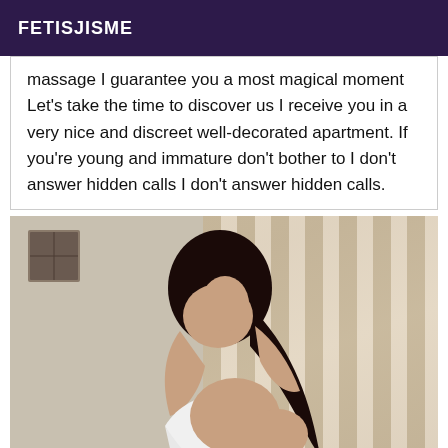FETISJISME
massage I guarantee you a most magical moment Let's take the time to discover us I receive you in a very nice and discreet well-decorated apartment. If you're young and immature don't bother to I don't answer hidden calls I don't answer hidden calls.
[Figure (photo): A woman with long dark hair sitting on a bed in a bedroom with striped curtains in the background.]